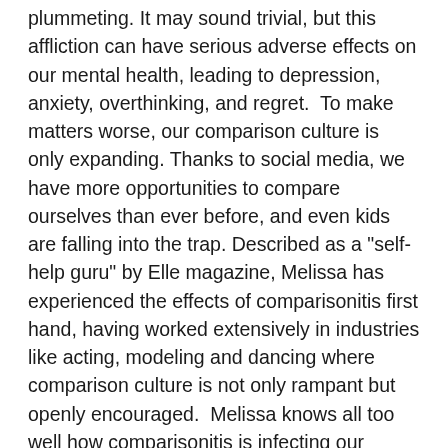plummeting. It may sound trivial, but this affliction can have serious adverse effects on our mental health, leading to depression, anxiety, overthinking, and regret.  To make matters worse, our comparison culture is only expanding. Thanks to social media, we have more opportunities to compare ourselves than ever before, and even kids are falling into the trap. Described as a "self-help guru" by Elle magazine, Melissa has experienced the effects of comparisonitis first hand, having worked extensively in industries like acting, modeling and dancing where comparison culture is not only rampant but openly encouraged.  Melissa knows all too well how comparisonitis is infecting our minds and hurting our hearts, and in this book, she'll help you heal from this disease, liberate your headspace, and raise your self-worth so radically that you'll never let comparison rob you of your joy and happiness again. Review “Since Melissa refers to people who have recovered from comparisonitis as ‘unicorns,’ I suppose that makes this book a sort of unicorn training manual. I’m so grateful that such a